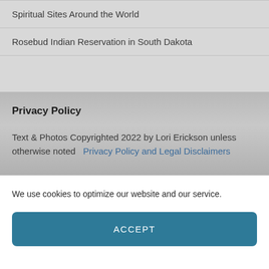Spiritual Sites Around the World
Rosebud Indian Reservation in South Dakota
Privacy Policy
Text & Photos Copyrighted 2022 by Lori Erickson unless otherwise noted  Privacy Policy and Legal Disclaimers
We use cookies to optimize our website and our service.
ACCEPT